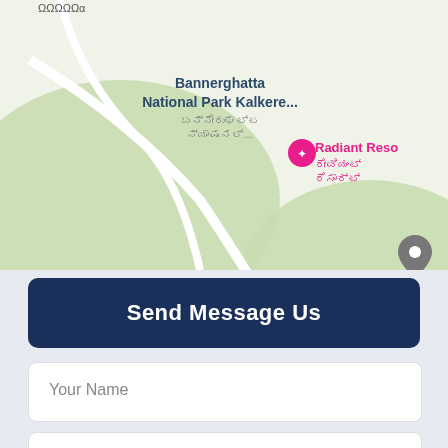[Figure (map): Google Maps screenshot showing Bannerghatta National Park Kalkere area with Radiant Resort and Orchids T School visible, yellow road running through center, bus stop icons, and a location pin marker.]
Send Message Us
Your Name
Your Email Id
Your Mobile No.